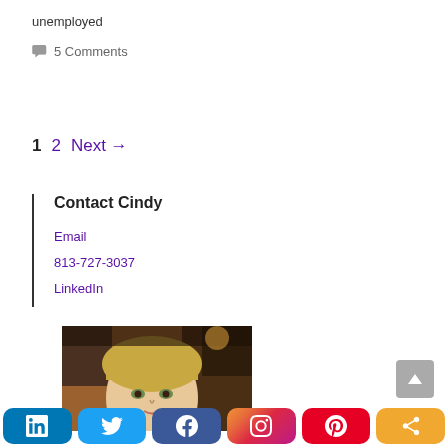unemployed
5 Comments
1  2  Next →
Contact Cindy
Email
813-727-3037
LinkedIn
[Figure (photo): Profile photo of a woman with blonde bangs in a social setting]